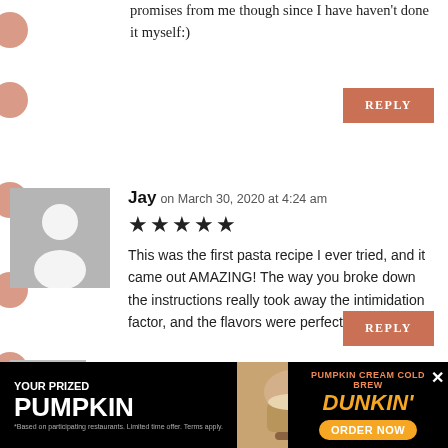promises from me though since I have haven't done it myself:)
REPLY
Jay on March 30, 2020 at 4:24 am
[Figure (illustration): Star rating: 5 stars]
This was the first pasta recipe I ever tried, and it came out AMAZING! The way you broke down the instructions really took away the intimidation factor, and the flavors were perfect!
REPLY
Linda Spiker on April 2, 2020 at 2:53
[Figure (photo): Dunkin' Pumpkin Cream Cold Brew advertisement banner]